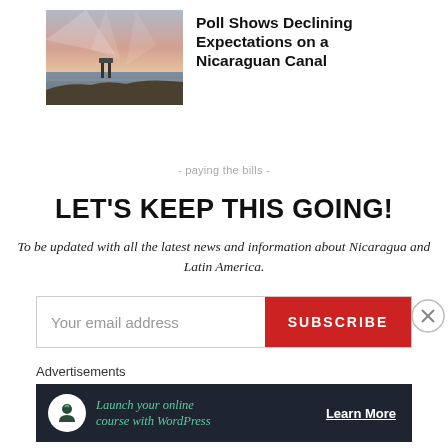[Figure (photo): Partial top strip of a green-toned outdoor/nature image]
[Figure (photo): Lakeside or coastal scene at dusk/dawn with dramatic sky, pier visible, calm water and silhouetted rocks]
Poll Shows Declining Expectations on a Nicaraguan Canal
- paying the bills -
LET'S KEEP THIS GOING!
To be updated with all the latest news and information about Nicaragua and Latin America.
Your email address
SUBSCRIBE
Advertisements
[Figure (infographic): Dark advertisement banner: icon of person at desk, text 'Launch your online course with WordPress', 'Learn More' link]